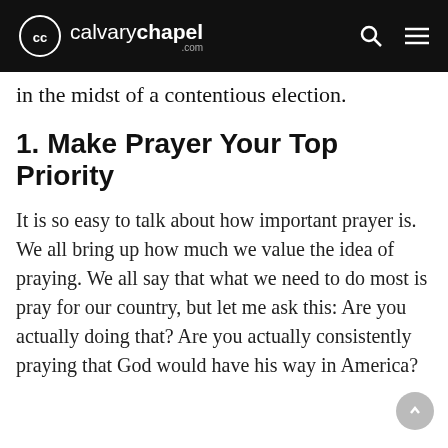calvary chapel .com
in the midst of a contentious election.
1. Make Prayer Your Top Priority
It is so easy to talk about how important prayer is. We all bring up how much we value the idea of praying. We all say that what we need to do most is pray for our country, but let me ask this: Are you actually doing that? Are you actually consistently praying that God would have his way in America?